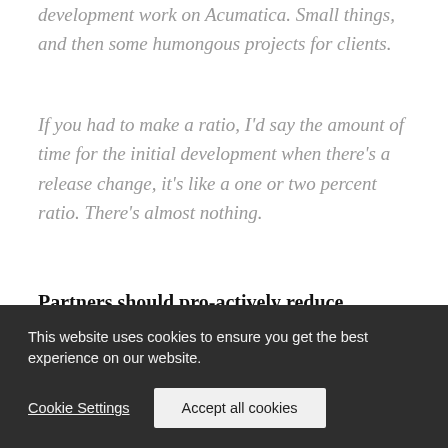development work on Acumatica. Small things, and then some humongous projects for clients.
If you had to make a ratio, I'd say the amount of time for the initial development when there's a release change, it's like a one or two percent ratio. There's almost nothing.
Partners should pro-actively reduce customizations. Schwartz:
“
This website uses cookies to ensure you get the best experience on our website.